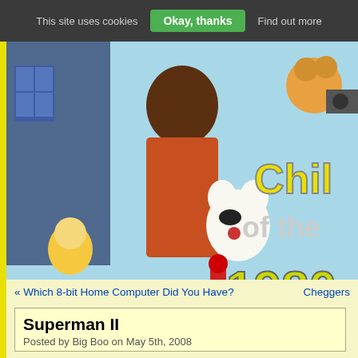This site uses cookies  Okay, thanks  Find out more
[Figure (photo): Banner image for 'Children of the 1980s' website showing Mr. T, Danger Mouse, cartoon characters, and 1980s pop culture imagery with yellow bubble text reading 'Chil of the 1980']
★ Store ★ Subscribe via RSS or e-mail ★ About this Si... ★ Legal Stuff ★ Privacy Poli...
« Which 8-bit Home Computer Did You Have?   Cheggers
Superman II
Posted by Big Boo on May 5th, 2008